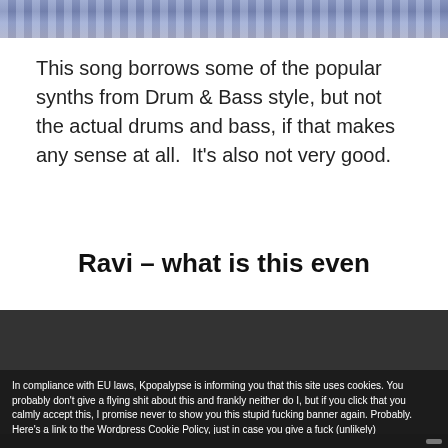[Figure (photo): Top portion of a photo showing people, partially cropped, with striped clothing visible]
This song borrows some of the popular synths from Drum & Bass style, but not the actual drums and bass, if that makes any sense at all.  It's also not very good.
Ravi – what is this even
[Figure (screenshot): Embedded video player with dark background and cookie consent banner overlay. Banner reads: In compliance with EU laws, Kpopalypse is informing you that this site uses cookies. You probably don't give a flying shit about this and frankly neither do I, but if you click that you calmly accept this, I promise never to show you this stupid fucking banner again. Probably. Here's a link to the Wordpress Cookie Policy, just in case you give a fuck (unlikely). Button: I calmly accept]